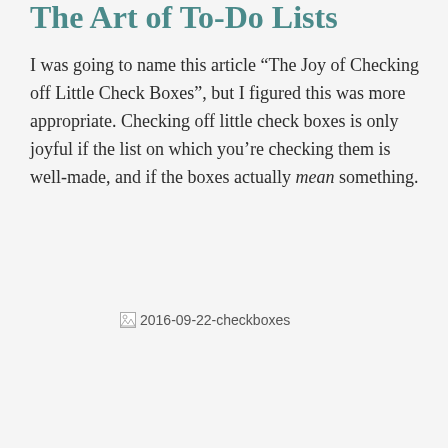The Art of To-Do Lists
I was going to name this article “The Joy of Checking off Little Check Boxes”, but I figured this was more appropriate. Checking off little check boxes is only joyful if the list on which you’re checking them is well-made, and if the boxes actually mean something.
[Figure (photo): Broken image placeholder labeled 2016-09-22-checkboxes]